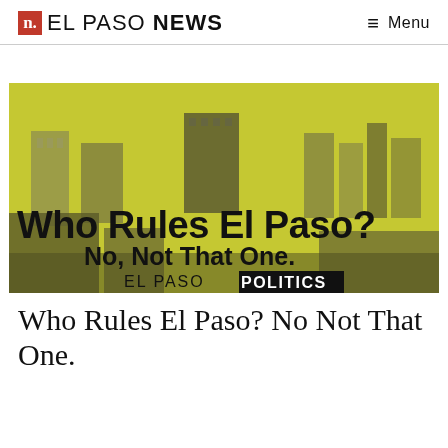n. EL PASO NEWS  ≡ Menu
[Figure (photo): Aerial/elevated view of El Paso city skyline with a yellow-green color overlay, with overlaid text reading 'Who Rules El Paso? No, Not That One. EL PASO POLITICS']
Who Rules El Paso? No Not That One.